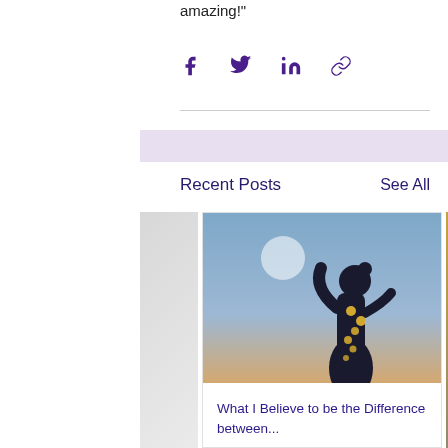amazing!"
[Figure (other): Social share icons: Facebook, Twitter, LinkedIn, link/copy]
Recent Posts
See All
[Figure (photo): Silhouette of a person holding lights against a twilight sky with moon]
What I Believe to be the Difference between...